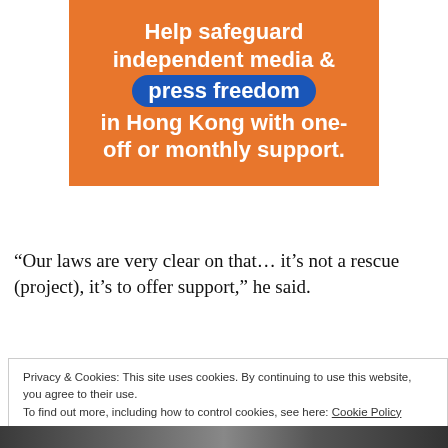[Figure (infographic): Orange banner advertisement reading 'Help safeguard independent media & press freedom in Hong Kong with one-off or monthly support.' The words 'press freedom' appear in a blue pill/badge shape.]
“Our laws are very clear on that… it’s not a rescue (project), it’s to offer support,” he said.
Privacy & Cookies: This site uses cookies. By continuing to use this website, you agree to their use.
To find out more, including how to control cookies, see here: Cookie Policy
Close and accept
[Figure (photo): Partial photo strip at the bottom showing a crowd of protesters.]